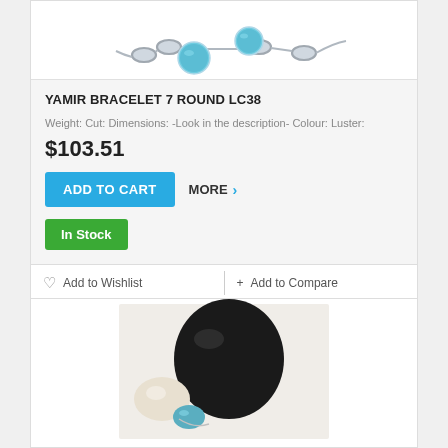[Figure (photo): Bracelet with blue larimar stones and silver links, partially visible at top of card]
YAMIR BRACELET 7 ROUND LC38
Weight: Cut: Dimensions: -Look in the description- Colour: Luster:
$103.51
ADD TO CART
MORE >
In Stock
Add to Wishlist
+Add to Compare
[Figure (photo): Jewelry items including a black stone, white/cream stone, and blue stone on white background]